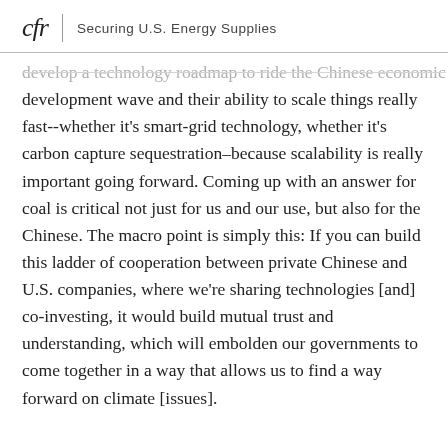cfr | Securing U.S. Energy Supplies
develop a technology roadmap to ride the Chinese economic development wave and their ability to scale things really fast--whether it's smart-grid technology, whether it's carbon capture sequestration–because scalability is really important going forward. Coming up with an answer for coal is critical not just for us and our use, but also for the Chinese. The macro point is simply this: If you can build this ladder of cooperation between private Chinese and U.S. companies, where we're sharing technologies [and] co-investing, it would build mutual trust and understanding, which will embolden our governments to come together in a way that allows us to find a way forward on climate [issues].